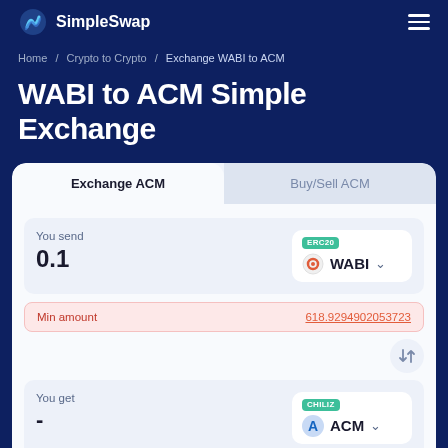SimpleSwap
Home / Crypto to Crypto / Exchange WABI to ACM
WABI to ACM Simple Exchange
Exchange ACM | Buy/Sell ACM
You send
0.1
WABI (ERC20)
Min amount
618.9294902053723
You get
-
ACM (CHILIZ)